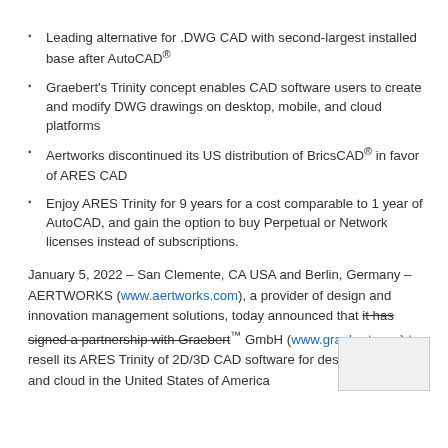Leading alternative for .DWG CAD with second-largest installed base after AutoCAD®
Graebert's Trinity concept enables CAD software users to create and modify DWG drawings on desktop, mobile, and cloud platforms
Aertworks discontinued its US distribution of BricsCAD® in favor of ARES CAD
Enjoy ARES Trinity for 9 years for a cost comparable to 1 year of AutoCAD, and gain the option to buy Perpetual or Network licenses instead of subscriptions.
January 5, 2022 – San Clemente, CA USA and Berlin, Germany – AERTWORKS (www.aertworks.com), a provider of design and innovation management solutions, today announced that it has signed a partnership with Graebert™ GmbH (www.graebert.com) to resell its ARES Trinity of 2D/3D CAD software for desktop, mobile, and cloud in the United States of America